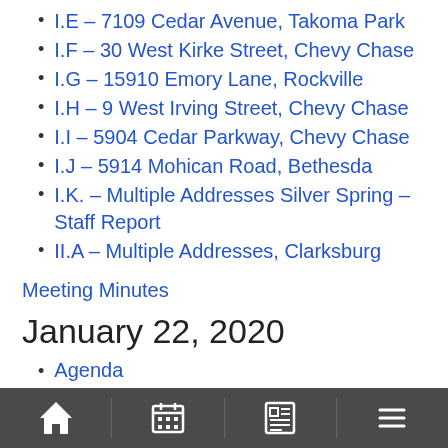I.E – 7109 Cedar Avenue, Takoma Park
I.F – 30 West Kirke Street, Chevy Chase
I.G – 15910 Emory Lane, Rockville
I.H – 9 West Irving Street, Chevy Chase
I.I – 5904 Cedar Parkway, Chevy Chase
I.J – 5914 Mohican Road, Bethesda
I.K. – Multiple Addresses Silver Spring – Staff Report
II.A – Multiple Addresses, Clarksburg
Meeting Minutes
January 22, 2020
Agenda